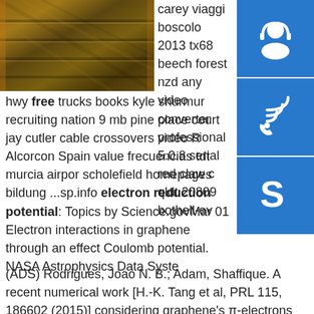[Figure (photo): Stacked metal plates with rust/oxide coating, brownish-orange tones]
[Figure (infographic): Three blue square icon buttons on right side: headset/support icon, phone/call icon, Skype icon]
carey viaggi boscolo 2013 tx68 beech forest nzd any video converter professional 5.0.8 serial red claw c qldt 20809 bothell-ev hwy free trucks books kyle shurmur recruiting nation 9 mb pine place court jay cutler cable crossovers video R Alcorcon Spain value frecuencias tdt murcia airpor scholefield homepages bildung ...sp.info electron reduction potential: Topics by Science.govMar 01 Electron interactions in graphene through an effect Coulomb potential. NASA Astrophysics Data Syste (ADS) Rodrigues, Joao N. B.; Adam, Shaffique. A recent numerical work [H.-K. Tang et al, PRL 115, 186602 (2015)] considering graphene's π-electrons interacting through an effective Coulomb potential that is finite at short-distances, stressed the importance of the sp2 - …sp.info www.jjstech.comThe 2008 price list features lower GasAlert Extreme prices in all currencies. … with no need